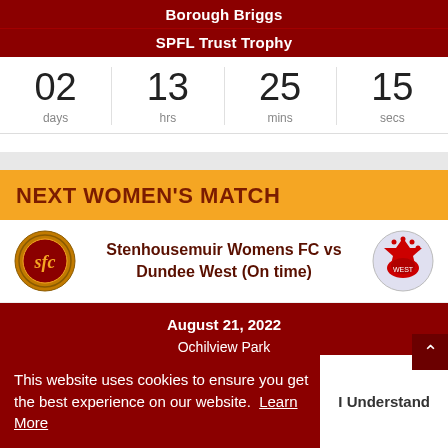Borough Briggs
SPFL Trust Trophy
| days | hrs | mins | secs |
| --- | --- | --- | --- |
| 02 | 13 | 25 | 15 |
NEXT WOMEN'S MATCH
Stenhousemuir Womens FC vs Dundee West (On time)
August 21, 2022
Ochilview Park
SWF League One
00 days   08 hrs   10 mins
This website uses cookies to ensure you get the best experience on our website.  Learn More